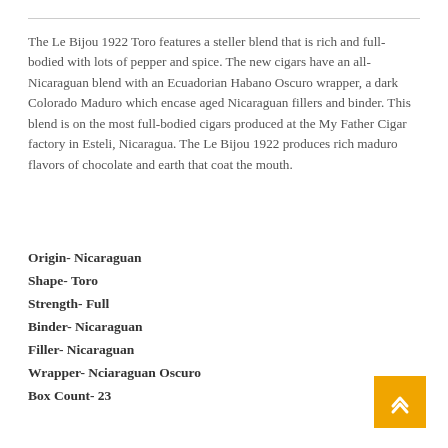The Le Bijou 1922 Toro features a steller blend that is rich and full-bodied with lots of pepper and spice. The new cigars have an all-Nicaraguan blend with an Ecuadorian Habano Oscuro wrapper, a dark Colorado Maduro which encase aged Nicaraguan fillers and binder. This blend is on the most full-bodied cigars produced at the My Father Cigar factory in Esteli, Nicaragua. The Le Bijou 1922 produces rich maduro flavors of chocolate and earth that coat the mouth.
Origin- Nicaraguan
Shape- Toro
Strength- Full
Binder- Nicaraguan
Filler- Nicaraguan
Wrapper- Nciaraguan Oscuro
Box Count- 23